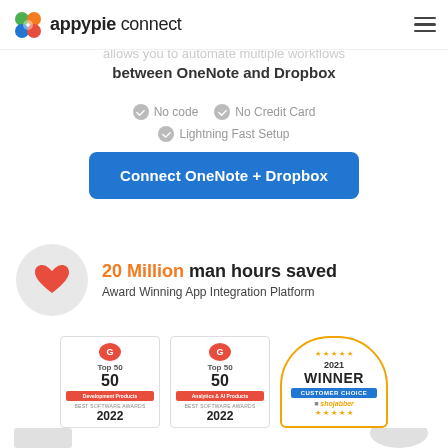appypie connect
allows you to automate multiple workflows between OneNote and Dropbox
No code
No Credit Card
Lightning Fast Setup
Connect OneNote + Dropbox
20 Million man hours saved
Award Winning App Integration Platform
[Figure (logo): G2 Top 50 Development Products Best Software Awards 2022 badge]
[Figure (logo): G2 Top 50 Analytics & AI Products Best Software Awards 2022 badge]
[Figure (logo): 2021 Winner Customer Choice Shojabber badge]